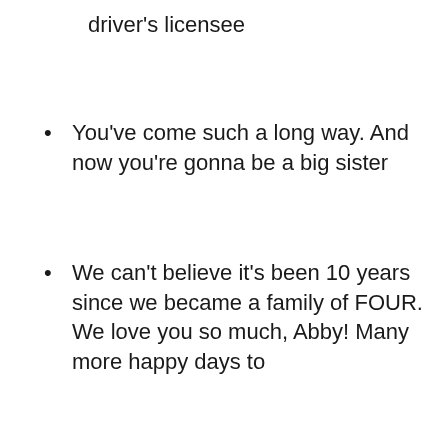driver's licensee
You've come such a long way. And now you're gonna be a big sister
We can't believe it's been 10 years since we became a family of FOUR. We love you so much, Abby! Many more happy days to